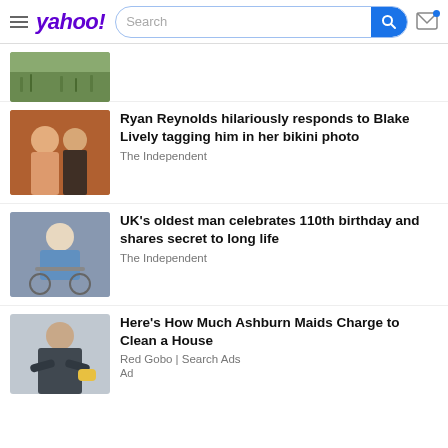yahoo! Search
[Figure (photo): Partial thumbnail of an outdoor scene with green grass]
[Figure (photo): Photo of Ryan Reynolds and Blake Lively at a formal event]
Ryan Reynolds hilariously responds to Blake Lively tagging him in her bikini photo
The Independent
[Figure (photo): Photo of elderly man in wheelchair]
UK's oldest man celebrates 110th birthday and shares secret to long life
The Independent
[Figure (photo): Photo of a maid/cleaner with arms crossed]
Here's How Much Ashburn Maids Charge to Clean a House
Red Gobo | Search Ads
Ad